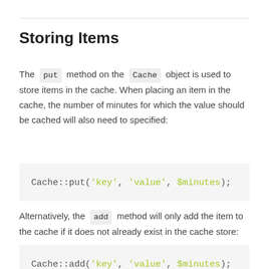Storing Items
The put method on the Cache object is used to store items in the cache. When placing an item in the cache, the number of minutes for which the value should be cached will also need to specified:
Cache::put('key', 'value', $minutes);
Alternatively, the add method will only add the item to the cache if it does not already exist in the cache store:
Cache::add('key', 'value', $minutes);